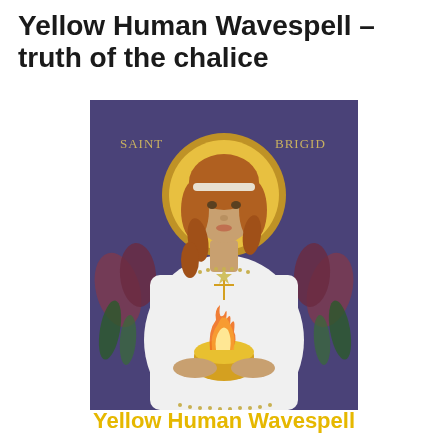Yellow Human Wavespell – truth of the chalice
[Figure (illustration): Icon painting of Saint Brigid holding a golden chalice with flames rising from it. She wears a white robe with a gold cross pendant, has auburn hair and a golden halo behind her head. Purple background with flowers/tulips on either side. Text 'SAINT' on upper left and 'BRIGID' on upper right in the image.]
Yellow Human Wavespell